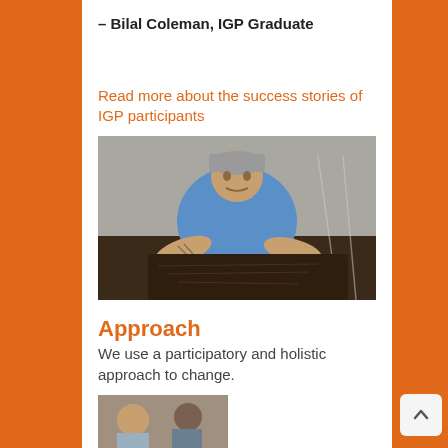– Bilal Coleman, IGP Graduate
Read more about the success stories of IGP participants
[Figure (photo): Man in blue prison uniform leaning over dark soil or compost, working outdoors against a concrete wall background]
Approach
We use a participatory and holistic approach to change.
[Figure (photo): Partial view of people working, bottom of page]